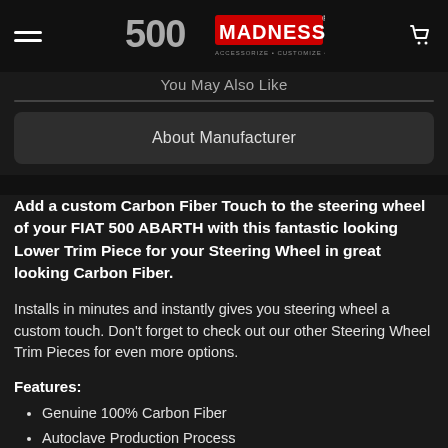Reviews
[Figure (logo): 500 Madness logo: '500' in grey and 'MADNESS' on red background with tagline 'ACCESSORIZE • CUSTOMIZE • PERSONALIZE']
You May Also Like
About Manufacturer
Add a custom Carbon Fiber Touch to the steering wheel of your FIAT 500 ABARTH with this fantastic looking Lower Trim Piece for your Steering Wheel in great looking Carbon Fiber.
Installs in minutes and instantly gives you steering wheel a custom touch. Don't forget to check out our other Steering Wheel Trim Pieces for even more options.
Features:
Genuine 100% Carbon Fiber
Autoclave Production Process
High Gloss Clear Coat Finish
Fantastic Detail - check out the close up pictures
Easy installation